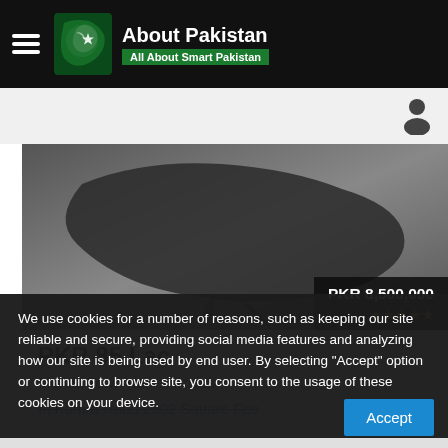About Pakistan — All About Smart Pakistan
[Figure (screenshot): Property listing map silhouette image showing a dark geographic shape on a gray gradient background, with a price badge showing PKR 8,500,000 and empty star ratings in bottom right corner.]
PKR 85 Lac
Mehria Town Kam... Attock
In Kamra Road 2502 Square Fee
We use cookies for a number of reasons, such as keeping our site reliable and secure, providing social media features and analyzing how our site is being used by end user. By selecting "Accept" option or continuing to browse site, you consent to the usage of these cookies on your device.